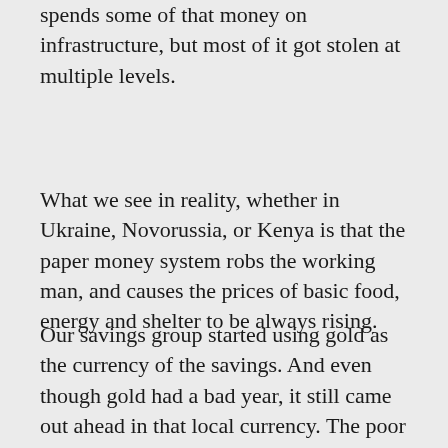spends some of that money on infrastructure, but most of it got stolen at multiple levels.
What we see in reality, whether in Ukraine, Novorussia, or Kenya is that the paper money system robs the working man, and causes the prices of basic food, energy and shelter to be always rising.
Our savings group started using gold as the currency of the savings. And even though gold had a bad year, it still came out ahead in that local currency. The poor people were very happy with the result.